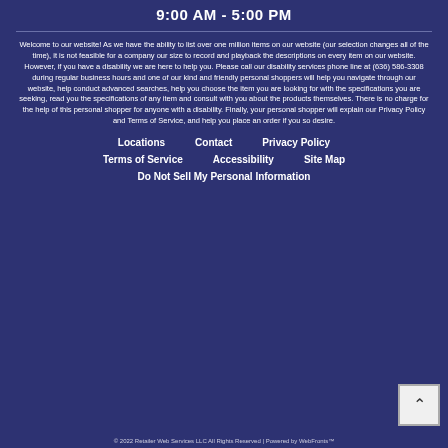9:00 AM - 5:00 PM
Welcome to our website! As we have the ability to list over one million items on our website (our selection changes all of the time), it is not feasible for a company our size to record and playback the descriptions on every item on our website. However, if you have a disability we are here to help you. Please call our disability services phone line at (636) 586-3308 during regular business hours and one of our kind and friendly personal shoppers will help you navigate through our website, help conduct advanced searches, help you choose the item you are looking for with the specifications you are seeking, read you the specifications of any item and consult with you about the products themselves. There is no charge for the help of this personal shopper for anyone with a disability. Finally, your personal shopper will explain our Privacy Policy and Terms of Service, and help you place an order if you so desire.
Locations
Contact
Privacy Policy
Terms of Service
Accessibility
Site Map
Do Not Sell My Personal Information
© 2022 Retailer Web Services LLC All Rights Reserved | Powered by WebFronts™